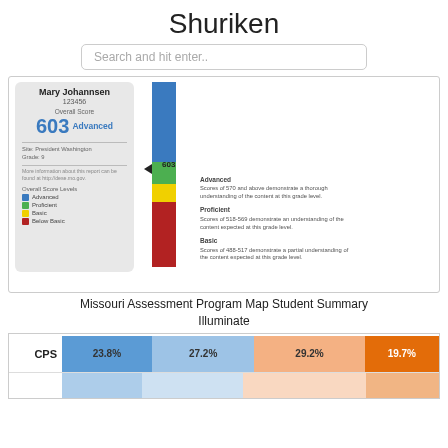Shuriken
Search and hit enter..
[Figure (infographic): Missouri Assessment Program Map Student Summary Illuminate - student score card for Mary Johannsen, ID 123456, Overall Score 603 Advanced. Vertical bar chart showing score levels: Advanced (blue), Proficient (green), Basic (yellow), Below Basic (red). Score indicator arrow at 603. Legend showing score level descriptions.]
Missouri Assessment Program Map Student Summary
Illuminate
[Figure (stacked-bar-chart): Score level distribution]